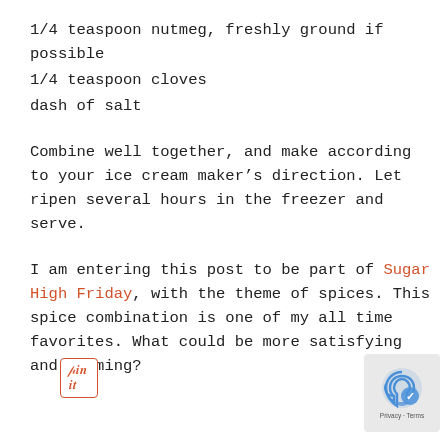1/4 teaspoon nutmeg, freshly ground if possible
1/4 teaspoon cloves
dash of salt
Combine well together, and make according to your ice cream maker’s direction. Let ripen several hours in the freezer and serve.
I am entering this post to be part of Sugar High Friday, with the theme of spices. This spice combination is one of my all time favorites. What could be more satisfying and warming?
[Figure (other): Pin it button and reCAPTCHA widget]